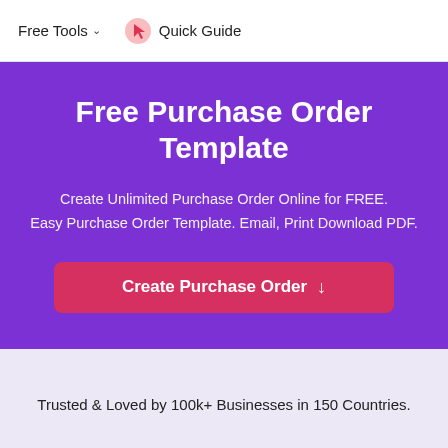Free Tools ▾   Quick Guide
Free Purchase Order Template
Create Unlimited Purchase Order Online for FREE. Easy Purchase Order Template. Email, Print Download PDF.
Create Purchase Order ↓
Trusted & Loved by 100k+ Businesses in 150 Countries.